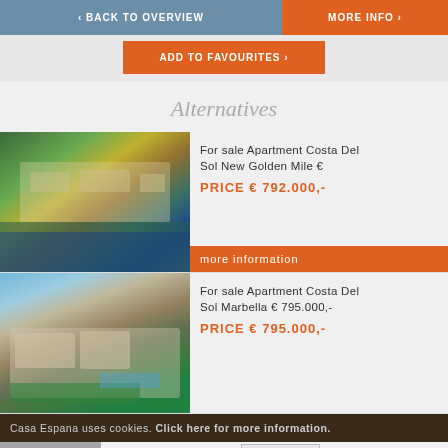< BACK TO OVERVIEW   MORE INFO >
ADD TO FAVOURITES >
Alternatives
[Figure (photo): Aerial view of apartment complex near beach]
For sale Apartment Costa Del Sol New Golden Mile €
PRICE € 792.000,-
more information
[Figure (photo): Modern villa/apartment building with pool and gardens]
For sale Apartment Costa Del Sol Marbella € 795.000,-
PRICE € 795.000,-
Casa Espana uses cookies. Click here for more information.
Close
For sale Apartment Costa Del